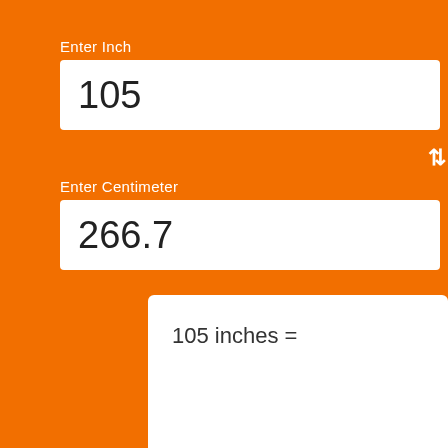Enter Inch
105
Enter Centimeter
266.7
105 inches =